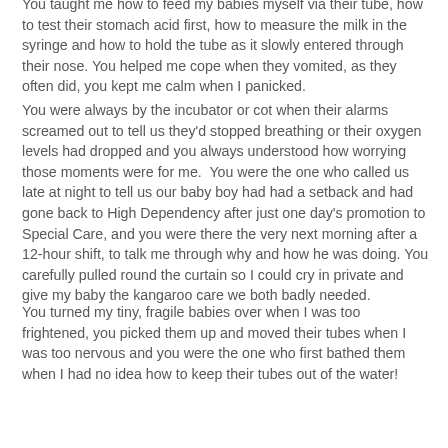You taught me how to feed my babies myself via their tube, how to test their stomach acid first, how to measure the milk in the syringe and how to hold the tube as it slowly entered through their nose. You helped me cope when they vomited, as they often did, you kept me calm when I panicked.
You were always by the incubator or cot when their alarms screamed out to tell us they'd stopped breathing or their oxygen levels had dropped and you always understood how worrying those moments were for me.  You were the one who called us late at night to tell us our baby boy had had a setback and had gone back to High Dependency after just one day's promotion to Special Care, and you were there the very next morning after a 12-hour shift, to talk me through why and how he was doing. You carefully pulled round the curtain so I could cry in private and give my baby the kangaroo care we both badly needed.
You turned my tiny, fragile babies over when I was too frightened, you picked them up and moved their tubes when I was too nervous and you were the one who first bathed them when I had no idea how to keep their tubes out of the water!